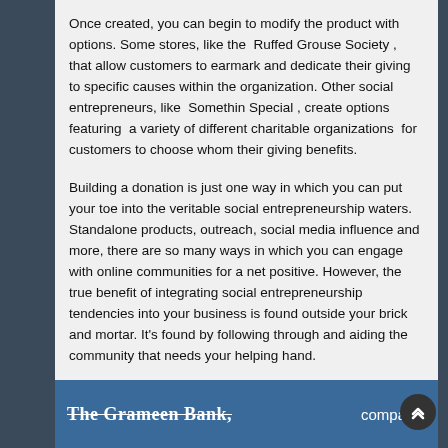Once created, you can begin to modify the product with options. Some stores, like the Ruffed Grouse Society , that allow customers to earmark and dedicate their giving to specific causes within the organization. Other social entrepreneurs, like Somethin Special , create options featuring a variety of different charitable organizations for customers to choose whom their giving benefits.
Building a donation is just one way in which you can put your toe into the veritable social entrepreneurship waters. Standalone products, outreach, social media influence and more, there are so many ways in which you can engage with online communities for a net positive. However, the true benefit of integrating social entrepreneurship tendencies into your business is found outside your brick and mortar. It's found by following through and aiding the community that needs your helping hand.
Does your business give back to the community? Let us know about what you do in the Contact Us below!
[Figure (other): Partial banner at bottom showing 'The Grameen Bank,' text with strikethrough styling in white on blue background, and partial word 'companie' visible on the right]